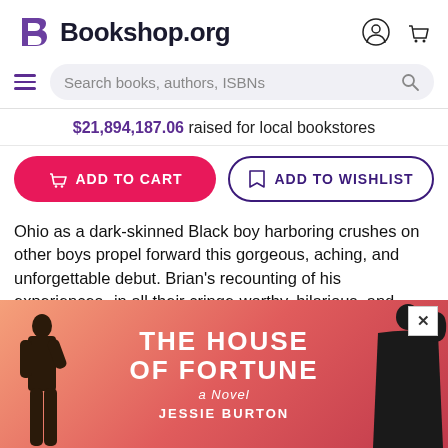Bookshop.org
$21,894,187.06 raised for local bookstores
ADD TO CART   ADD TO WISHLIST
Ohio as a dark-skinned Black boy harboring crushes on other boys propel forward this gorgeous, aching, and unforgettable debut. Brian's recounting of his experiences--in all their cringe-worthy, hilarious, and heartbreaking glory--reveal a perpetual outsider awkwardly squirming to find his way in. Indiscriminate sex an young effect. crucial
[Figure (other): Popup advertisement for 'The House of Fortune - A Novel' by Jessie Burton, showing book cover with orange-pink gradient background and silhouetted figures, with a close button (x) in the top right corner]